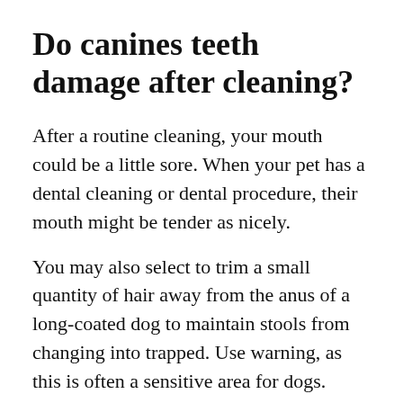Do canines teeth damage after cleaning?
After a routine cleaning, your mouth could be a little sore. When your pet has a dental cleaning or dental procedure, their mouth might be tender as nicely.
You may also select to trim a small quantity of hair away from the anus of a long-coated dog to maintain stools from changing into trapped. Use warning, as this is often a sensitive area for dogs. Some extra trimming may be necessary to assist your canine stay clean. Check